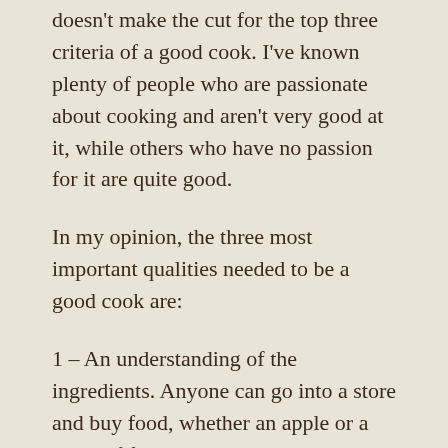doesn't make the cut for the top three criteria of a good cook. I've known plenty of people who are passionate about cooking and aren't very good at it, while others who have no passion for it are quite good.
In my opinion, the three most important qualities needed to be a good cook are:
1 – An understanding of the ingredients. Anyone can go into a store and buy food, whether an apple or a piece of fish. Knowing how to distinguish quality, and which variety will be best for its intended purpose, is the beginning of good cooking.
2 – A knowledge of techniques...